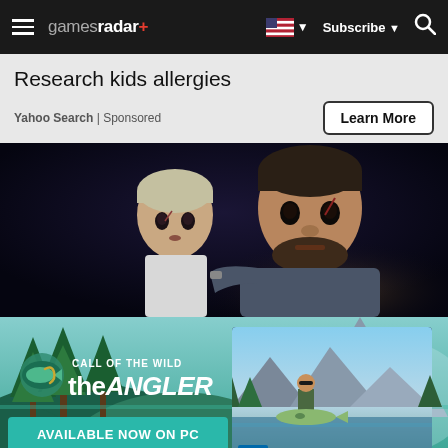gamesradar+ navigation bar
Research kids allergies
Yahoo Search | Sponsored
[Figure (screenshot): Button labeled 'Learn More' with border]
[Figure (photo): Screenshot from a video game showing a man with a beard holding a young child, both with minor injuries, dark moody background]
[Figure (illustration): Advertisement banner for 'Call of the Wild: the ANGLER' game, available now on PC, with game screenshot showing a man holding a large fish with mountains in background]